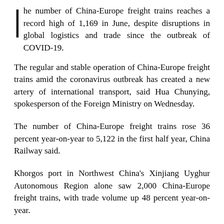The number of China-Europe freight trains reaches a record high of 1,169 in June, despite disruptions in global logistics and trade since the outbreak of COVID-19.
The regular and stable operation of China-Europe freight trains amid the coronavirus outbreak has created a new artery of international transport, said Hua Chunying, spokesperson of the Foreign Ministry on Wednesday.
The number of China-Europe freight trains rose 36 percent year-on-year to 5,122 in the first half year, China Railway said.
Khorgos port in Northwest China's Xinjiang Uyghur Autonomous Region alone saw 2,000 China-Europe freight trains, with trade volume up 48 percent year-on-year.
"China-Europe cargo trains have promoted cross-border flows of goods and services, as well as the resumption of work and production, and also reduced the impact of the epidemic on China-Europe industrial and supply-chain cooperation," said